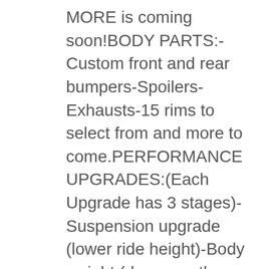MORE is coming soon!BODY PARTS:-Custom front and rear bumpers-Spoilers-Exhausts-15 rims to select from and more to come.PERFORMANCE UPGRADES:(Each Upgrade has 3 stages)-Suspension upgrade (lower ride height)-Body weight (decrease the cars weight and automatically equip Racing Seats and Roll Cage)-Engine tuningPAINT JOBS:-18 different colors for both the car and the rims (more colors are coming soon)You earn money by drifting on a drift track and you can spend it on body parts, upgrades or paint jobs.This game truly has the most realistic handling, and controlling the car is both fun and challenging, but if you've played realistic games before, this would be no challenge for you!*** If